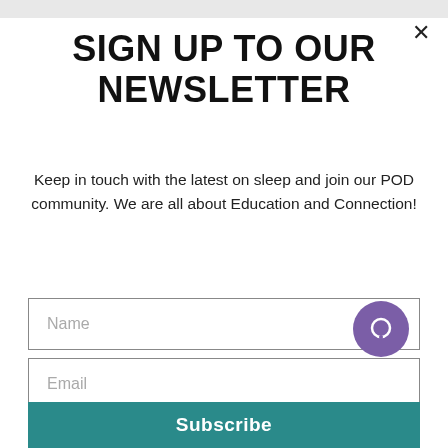SIGN UP TO OUR NEWSLETTER
Keep in touch with the latest on sleep and join our POD community. We are all about Education and Connection!
Name
Email
Subscribe